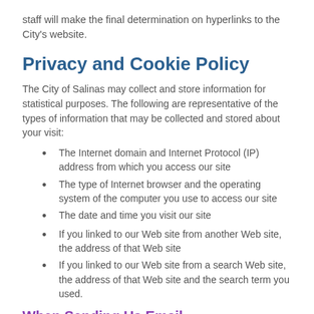staff will make the final determination on hyperlinks to the City's website.
Privacy and Cookie Policy
The City of Salinas may collect and store information for statistical purposes. The following are representative of the types of information that may be collected and stored about your visit:
The Internet domain and Internet Protocol (IP) address from which you access our site
The type of Internet browser and the operating system of the computer you use to access our site
The date and time you visit our site
If you linked to our Web site from another Web site, the address of that Web site
If you linked to our Web site from a search Web site, the address of that Web site and the search term you used.
When Sending Us Email